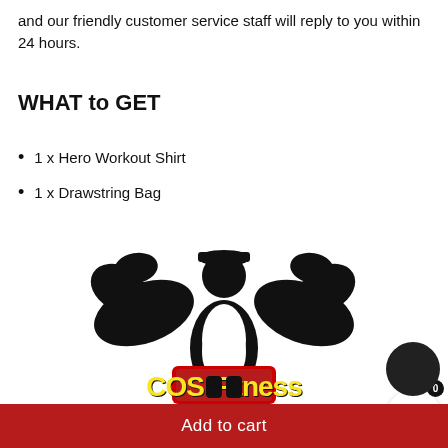and our friendly customer service staff will reply to you within 24 hours.
WHAT to GET
1 x Hero Workout Shirt
1 x Drawstring Bag
[Figure (logo): COS Fitness logo with muscular silhouette flexing arms and yellow stylized text 'COS Fitness' with red and black outline]
Add to cart